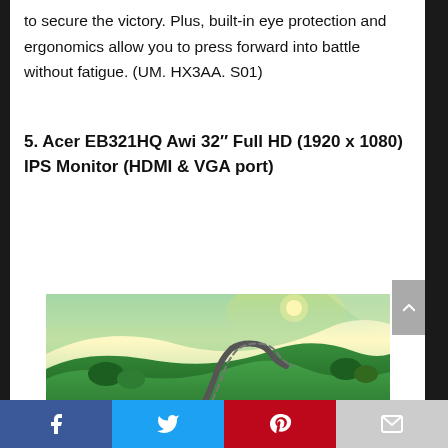to secure the victory. Plus, built-in eye protection and ergonomics allow you to press forward into battle without fatigue. (UM. HX3AA. S01)
5. Acer EB321HQ Awi 32″ Full HD (1920 x 1080) IPS Monitor (HDMI & VGA port)
[Figure (photo): Photo of a winding road through green hilly countryside displayed on an Acer monitor screen]
Social share bar with Facebook, Twitter, Pinterest, and Email buttons